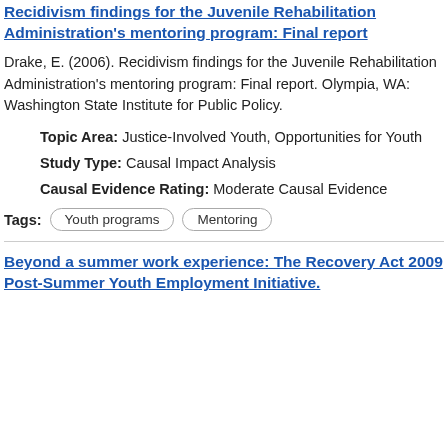Recidivism findings for the Juvenile Rehabilitation Administration's mentoring program: Final report
Drake, E. (2006). Recidivism findings for the Juvenile Rehabilitation Administration's mentoring program: Final report. Olympia, WA: Washington State Institute for Public Policy.
Topic Area: Justice-Involved Youth, Opportunities for Youth
Study Type: Causal Impact Analysis
Causal Evidence Rating: Moderate Causal Evidence
Tags: Youth programs  Mentoring
Beyond a summer work experience: The Recovery Act 2009 Post-Summer Youth Employment Initiative.